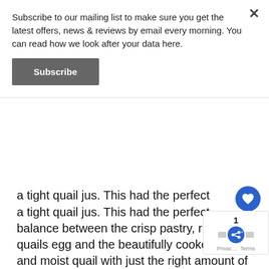Subscribe to our mailing list to make sure you get the latest offers, news & reviews by email every morning. You can read how we look after your data here.
Subscribe
a tight quail jus. This had the perfect balance between the crisp pastry, rich quails egg and the beautifully cooked tender and moist quail with just the right amount of fresh truffle grated over.